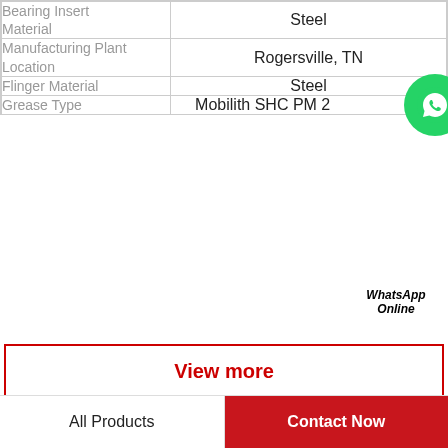| Property | Value |
| --- | --- |
| Bearing Insert Material | Steel |
| Manufacturing Plant Location | Rogersville, TN |
| Flinger Material | Steel |
| Grease Type | Mobilith SHC PM 2 |
View more
Company Profile
BEARING CORP.OF AMERICA
All Products
Contact Now